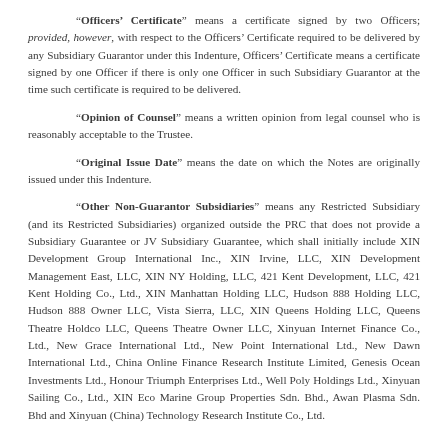“Officers’ Certificate” means a certificate signed by two Officers; provided, however, with respect to the Officers’ Certificate required to be delivered by any Subsidiary Guarantor under this Indenture, Officers’ Certificate means a certificate signed by one Officer if there is only one Officer in such Subsidiary Guarantor at the time such certificate is required to be delivered.
“Opinion of Counsel” means a written opinion from legal counsel who is reasonably acceptable to the Trustee.
“Original Issue Date” means the date on which the Notes are originally issued under this Indenture.
“Other Non-Guarantor Subsidiaries” means any Restricted Subsidiary (and its Restricted Subsidiaries) organized outside the PRC that does not provide a Subsidiary Guarantee or JV Subsidiary Guarantee, which shall initially include XIN Development Group International Inc., XIN Irvine, LLC, XIN Development Management East, LLC, XIN NY Holding, LLC, 421 Kent Development, LLC, 421 Kent Holding Co., Ltd., XIN Manhattan Holding LLC, Hudson 888 Holding LLC, Hudson 888 Owner LLC, Vista Sierra, LLC, XIN Queens Holding LLC, Queens Theatre Holdco LLC, Queens Theatre Owner LLC, Xinyuan Internet Finance Co., Ltd., New Grace International Ltd., New Point International Ltd., New Dawn International Ltd., China Online Finance Research Institute Limited, Genesis Ocean Investments Ltd., Honour Triumph Enterprises Ltd., Well Poly Holdings Ltd., Xinyuan Sailing Co., Ltd., XIN Eco Marine Group Properties Sdn. Bhd., Awan Plasma Sdn. Bhd and Xinyuan (China) Technology Research Institute Co., Ltd.